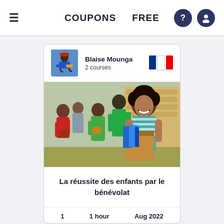COUPONS   FREE
Blaise Mounga
2 courses
[Figure (photo): A smiling girl with curly hair holding a brown paper bag with blue folders/binders, in a warehouse setting with other people in background]
La réussite des enfants par le bénévolat
1   1 hour   Aug 2022